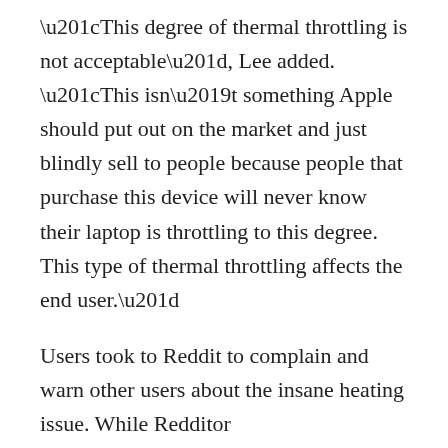“This degree of thermal throttling is not acceptable”, Lee added. “This isn’t something Apple should put out on the market and just blindly sell to people because people that purchase this device will never know their laptop is throttling to this degree. This type of thermal throttling affects the end user.”
Users took to Reddit to complain and warn other users about the insane heating issue. While Redditor IDoHaveWorkToDo said, “I returned my i9 2018 MBP today. It never once hit its advertised turbo speed–not even for a fraction of a second. It failed to maintain base clock,” another Reddit user jonlb87 said “Was supposed to pick up my i9 tonight. Looks like I’ll be canceling it.”